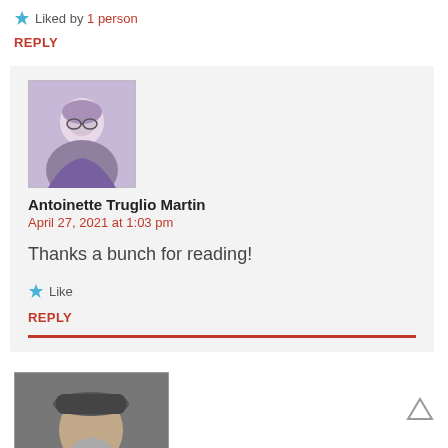★ Liked by 1 person
REPLY
Antoinette Truglio Martin
April 27, 2021 at 1:03 pm
Thanks a bunch for reading!
★ Like
REPLY
[Figure (photo): Profile photo of Antoinette Truglio Martin - elderly woman with gray hair and glasses]
[Figure (photo): Profile photo of another commenter - older man with gray beard wearing a dark cap]